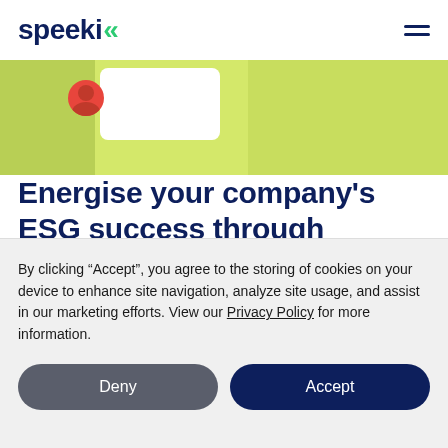speeki (logo with hamburger menu)
[Figure (illustration): Green/lime colored hero banner with white card panel, avatar figure in red, and decorative panels in shades of yellow-green]
Energise your company's ESG success through partnership
By clicking “Accept”, you agree to the storing of cookies on your device to enhance site navigation, analyze site usage, and assist in our marketing efforts. View our Privacy Policy for more information.
Deny | Accept